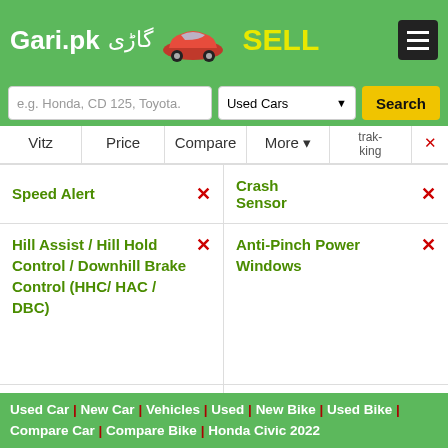Gari.pk گاڑی SELL
e.g. Honda, CD 125, Toyota. | Used Cars | Search
| Vitz | Price | Compare | More | trak-king |  |
| --- | --- | --- | --- | --- | --- |
| Speed Alert | ✗ | Crash Sensor | ✗ |
| Hill Assist / Hill Hold Control / Downhill Brake Control (HHC/ HAC / DBC) | ✗ | Anti-Pinch Power Windows | ✗ |
| Blind Spot Monitor | ✗ | Security System | Close x |
Used Car | New Car | Vehicles | Used | New Bike | Used Bike | Compare Car | Compare Bike | Honda Civic 2022